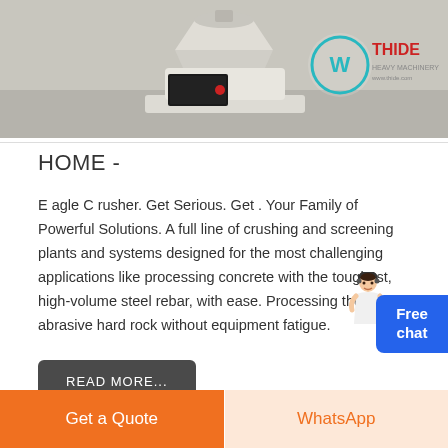[Figure (photo): Industrial cone crusher machine in a warehouse setting, with THIDE company logo/branding visible on the right side of the image.]
HOME -
E agle C rusher. Get Serious. Get . Your Family of Powerful Solutions. A full line of crushing and screening plants and systems designed for the most challenging applications like processing concrete with the toughest, high-volume steel rebar, with ease. Processing the most abrasive hard rock without equipment fatigue.
READ MORE...
Free chat
Get a Quote
WhatsApp